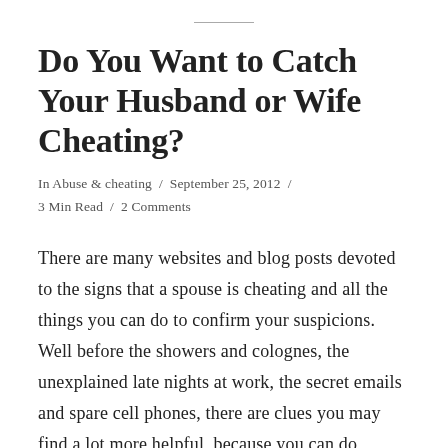Do You Want to Catch Your Husband or Wife Cheating?
In Abuse & cheating / September 25, 2012 / 3 Min Read / 2 Comments
There are many websites and blog posts devoted to the signs that a spouse is cheating and all the things you can do to confirm your suspicions. Well before the showers and colognes, the unexplained late nights at work, the secret emails and spare cell phones, there are clues you may find a lot more helpful, because you can do something about them